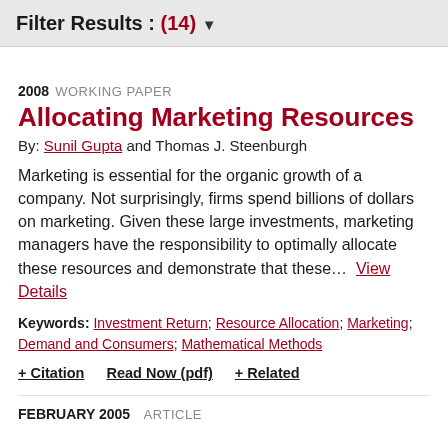Filter Results : (14) ▾
2008  WORKING PAPER
Allocating Marketing Resources
By: Sunil Gupta and Thomas J. Steenburgh
Marketing is essential for the organic growth of a company. Not surprisingly, firms spend billions of dollars on marketing. Given these large investments, marketing managers have the responsibility to optimally allocate these resources and demonstrate that these…  View Details
Keywords: Investment Return; Resource Allocation; Marketing; Demand and Consumers; Mathematical Methods
+ Citation   Read Now (pdf)   + Related
FEBRUARY 2005  ARTICLE